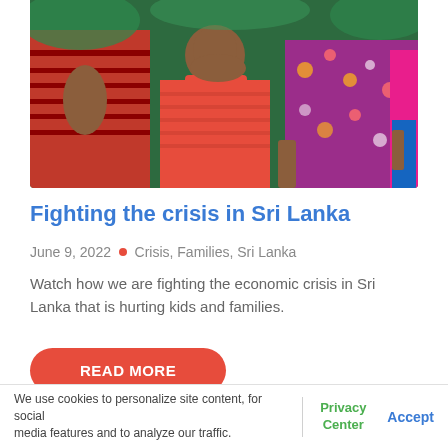[Figure (photo): Photo of women and a child, wearing red and colorful clothing, standing together outdoors]
Fighting the crisis in Sri Lanka
June 9, 2022 • Crisis, Families, Sri Lanka
Watch how we are fighting the economic crisis in Sri Lanka that is hurting kids and families.
READ MORE
We use cookies to personalize site content, for social media features and to analyze our traffic.
Privacy Center
Accept